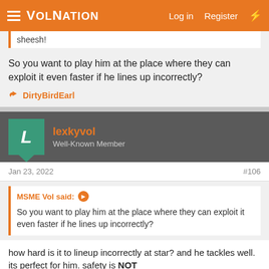VolNation — Log in  Register
sheesh!
So you want to play him at the place where they can exploit it even faster if he lines up incorrectly?
👍 DirtyBirdEarl
lexkyvol — Well-Known Member
Jan 23, 2022  #106
MSME Vol said: ➤
So you want to play him at the place where they can exploit it even faster if he lines up incorrectly?
how hard is it to lineup incorrectly at star? and he tackles well. its perfect for him. safety is NOT